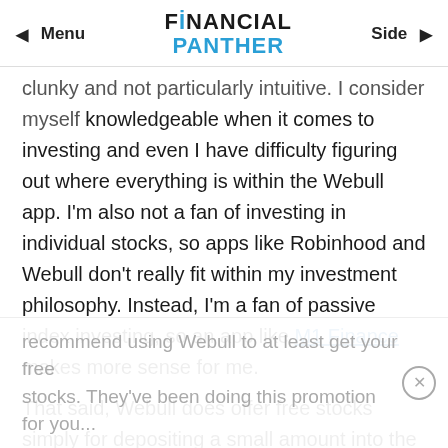Menu | FINANCIAL PANTHER | Side
clunky and not particularly intuitive. I consider myself knowledgeable when it comes to investing and even I have difficulty figuring out where everything is within the Webull app. I'm also not a fan of investing in individual stocks, so apps like Robinhood and Webull don't really fit within my investment philosophy. Instead, I'm a fan of passive index investing, so an app like M1 Finance makes more sense for me.
That said, Webull does offer free stocks simply for depositing a small amount into the account, which you can then pull out immediately. As a result, I do recommend using Webull to at least get your free stocks. They've been doing this promotion for you...